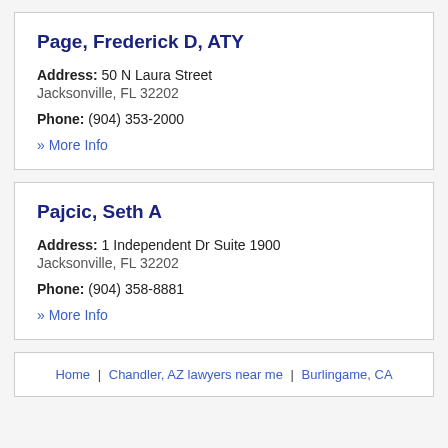Page, Frederick D, ATY
Address: 50 N Laura Street
Jacksonville, FL 32202
Phone: (904) 353-2000
» More Info
Pajcic, Seth A
Address: 1 Independent Dr Suite 1900
Jacksonville, FL 32202
Phone: (904) 358-8881
» More Info
Home | Chandler, AZ lawyers near me | Burlingame, CA